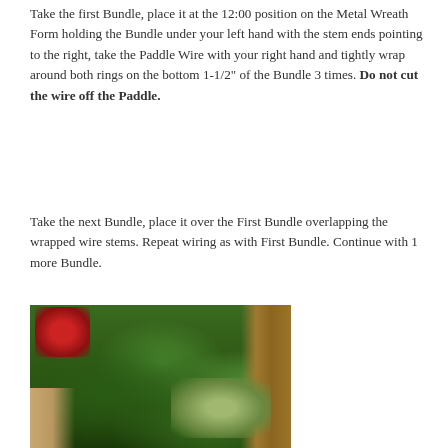Take the first Bundle, place it at the 12:00 position on the Metal Wreath Form holding the Bundle under your left hand with the stem ends pointing to the right, take the Paddle Wire with your right hand and tightly wrap around both rings on the bottom 1-1/2" of the Bundle 3 times. Do not cut the wire off the Paddle.
Take the next Bundle, place it over the First Bundle overlapping the wrapped wire stems. Repeat wiring as with First Bundle. Continue with 1 more Bundle.
[Figure (photo): Photo showing hands working with evergreen bundles and wire on a metal wreath form, with pine branches and greenery visible. Red poinsettia-like flowers visible in background, wooden fence behind.]